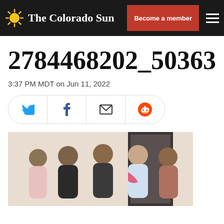The Colorado Sun — Become a member
2784468202_5036347856488
3:37 PM MDT on Jun 11, 2022
[Figure (other): Share buttons row: Twitter, Facebook, Email, Reddit]
[Figure (photo): Group photo of five people posing together indoors]